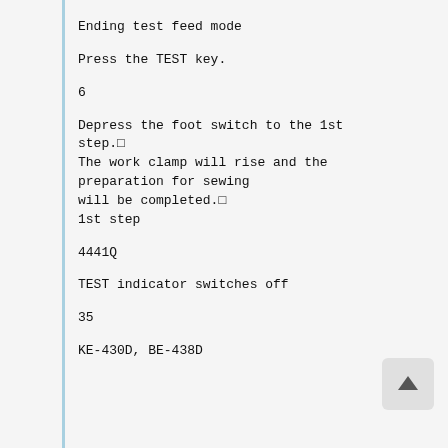Ending test feed mode
Press the TEST key.
6
Depress the foot switch to the 1st step.□
The work clamp will rise and the preparation for sewing
will be completed.□
1st step
4441Q
TEST indicator switches off
35
KE-430D, BE-438D